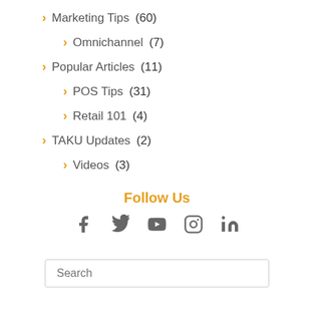Marketing Tips (60)
Omnichannel (7)
Popular Articles (11)
POS Tips (31)
Retail 101 (4)
TAKU Updates (2)
Videos (3)
Follow Us
[Figure (other): Social media icons: Facebook, Twitter, YouTube, Instagram, LinkedIn]
Search